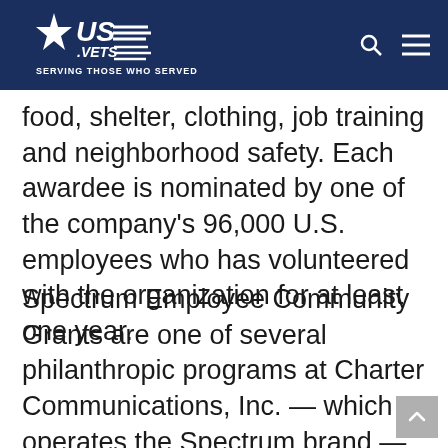[Figure (logo): US VETS logo — white star with US.VETS text and 'SERVING THOSE WHO SERVED' tagline on dark navy blue header bar]
food, shelter, clothing, job training and neighborhood safety. Each awardee is nominated by one of the company's 96,000 U.S. employees who has volunteered with the organization for at least one year.
Spectrum Employee Community Grants are one of several philanthropic programs at Charter Communications, Inc. — which operates the Spectrum brand — developed to support communities